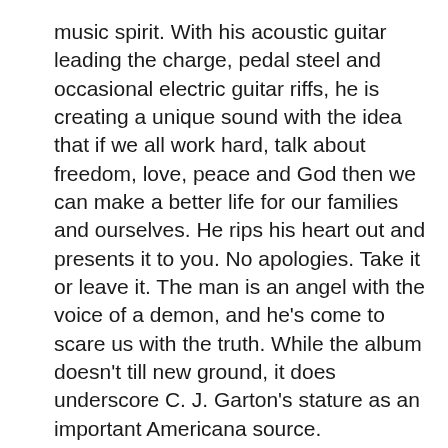music spirit. With his acoustic guitar leading the charge, pedal steel and occasional electric guitar riffs, he is creating a unique sound with the idea that if we all work hard, talk about freedom, love, peace and God then we can make a better life for our families and ourselves. He rips his heart out and presents it to you. No apologies. Take it or leave it. The man is an angel with the voice of a demon, and he's come to scare us with the truth. While the album doesn't till new ground, it does underscore C. J. Garton's stature as an important Americana source.
The sly The Devil finds his supple voice revealing explicit encounters with a hard life, the worn record sound underneath his urgent acoustic strumming and Joe Spivey's sawing fiddle adding extra grit to the pathos. I Went Crazy, his voice is ragged and hushed as he sorts through a break-up aftermath with a broad emotional palate—even romantic hope—fiddle and steel